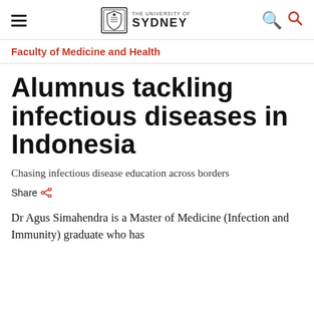THE UNIVERSITY OF SYDNEY
Faculty of Medicine and Health
Alumnus tackling infectious diseases in Indonesia
Chasing infectious disease education across borders
Share
Dr Agus Simahendra is a Master of Medicine (Infection and Immunity) graduate who has dedicated his work to infectious diseases.